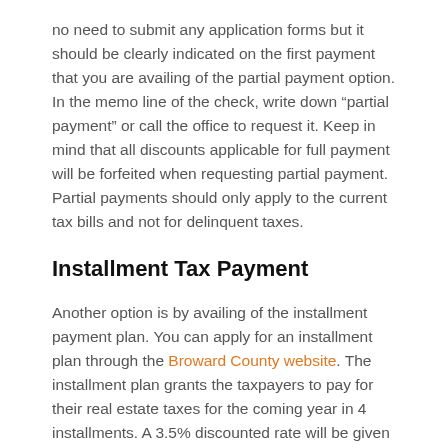no need to submit any application forms but it should be clearly indicated on the first payment that you are availing of the partial payment option. In the memo line of the check, write down “partial payment” or call the office to request it. Keep in mind that all discounts applicable for full payment will be forfeited when requesting partial payment. Partial payments should only apply to the current tax bills and not for delinquent taxes.
Installment Tax Payment
Another option is by availing of the installment payment plan. You can apply for an installment plan through the Broward County website. The installment plan grants the taxpayers to pay for their real estate taxes for the coming year in 4 installments. A 3.5% discounted rate will be given for the whole year’s bill. There is no need to reapply for this every year once the installment payment plan has been availed provided you pay the first payment on time. For more